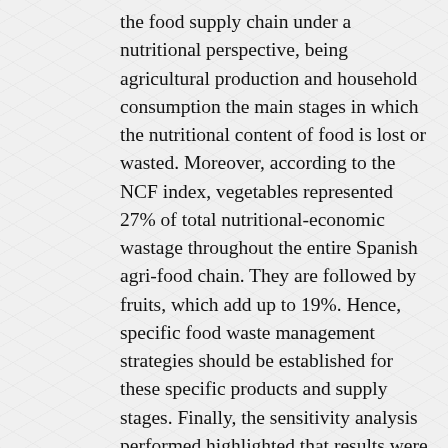the food supply chain under a nutritional perspective, being agricultural production and household consumption the main stages in which the nutritional content of food is lost or wasted. Moreover, according to the NCF index, vegetables represented 27% of total nutritional-economic wastage throughout the entire Spanish agri-food chain. They are followed by fruits, which add up to 19%. Hence, specific food waste management strategies should be established for these specific products and supply stages. Finally, the sensitivity analysis performed highlighted that results were mostly independent from the importance attributed to either nutritional or economic variables. Conclusions The methodology described in this study proposes an indicator quantifying the nutritional-economic cost of different food categories in the Spanish food basket. This NCF indicator makes it possible to define reduction strategies to promote the use of food waste fractions for waste-to-energy valorization